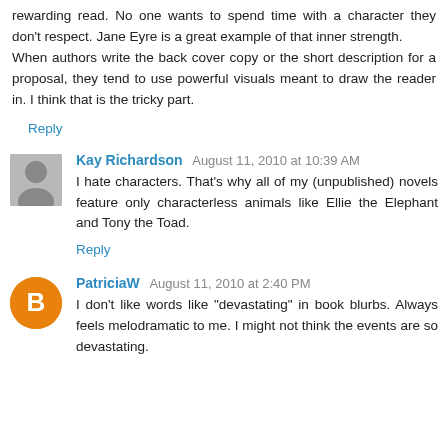rewarding read. No one wants to spend time with a character they don't respect. Jane Eyre is a great example of that inner strength. When authors write the back cover copy or the short description for a proposal, they tend to use powerful visuals meant to draw the reader in. I think that is the tricky part.
Reply
Kay Richardson  August 11, 2010 at 10:39 AM
I hate characters. That's why all of my (unpublished) novels feature only characterless animals like Ellie the Elephant and Tony the Toad.
Reply
PatriciaW  August 11, 2010 at 2:40 PM
I don't like words like "devastating" in book blurbs. Always feels melodramatic to me. I might not think the events are so devastating.